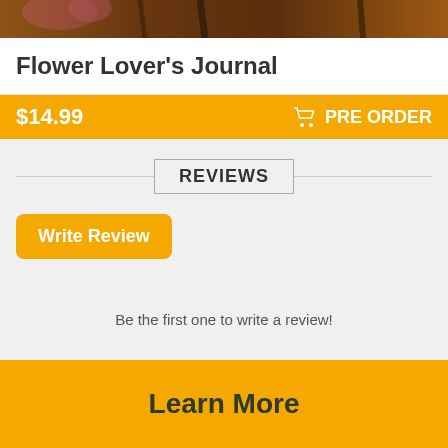[Figure (photo): Cropped photo of flowers and plant stems, showing warm tones of orange, red and green foliage]
Flower Lover's Journal
$14.99   🛒 PRE ORDER
REVIEWS
Write Review
Be the first one to write a review!
Learn More